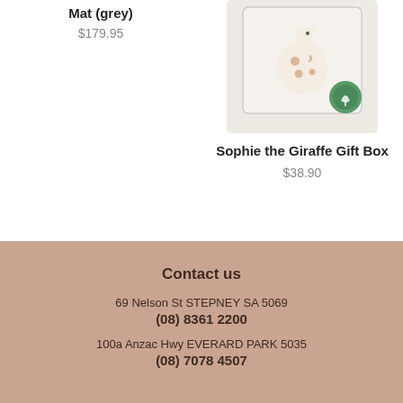Mat (grey)
$179.95
[Figure (photo): Sophie the Giraffe toy in a gift box packaging]
Sophie the Giraffe Gift Box
$38.90
Contact us
69 Nelson St STEPNEY SA 5069
(08) 8361 2200
100a Anzac Hwy EVERARD PARK 5035
(08) 7078 4507